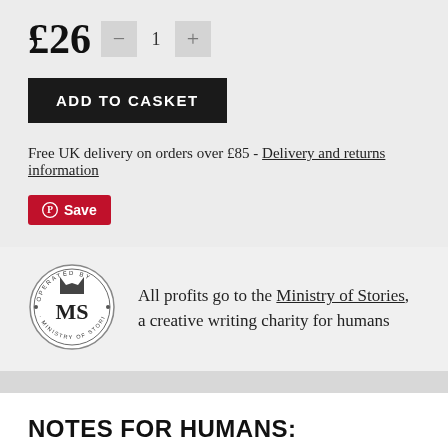£26
ADD TO CASKET
Free UK delivery on orders over £85 - Delivery and returns information
Save
[Figure (logo): Ministry of Stories circular stamp logo with crown and MS initials]
All profits go to the Ministry of Stories, a creative writing charity for humans
NOTES FOR HUMANS:
Bird skull jewellery box, made from strong polyresin by SuckUK. Measures 6.5cm x 19cm